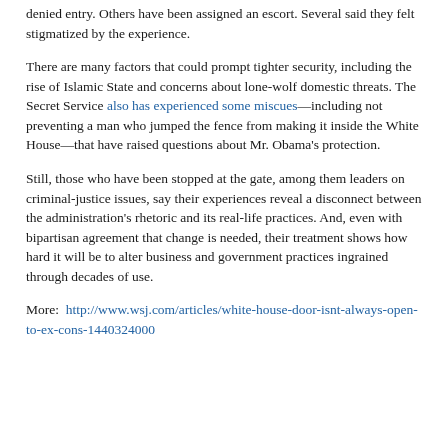denied entry. Others have been assigned an escort. Several said they felt stigmatized by the experience.
There are many factors that could prompt tighter security, including the rise of Islamic State and concerns about lone-wolf domestic threats. The Secret Service also has experienced some miscues—including not preventing a man who jumped the fence from making it inside the White House—that have raised questions about Mr. Obama's protection.
Still, those who have been stopped at the gate, among them leaders on criminal-justice issues, say their experiences reveal a disconnect between the administration's rhetoric and its real-life practices. And, even with bipartisan agreement that change is needed, their treatment shows how hard it will be to alter business and government practices ingrained through decades of use.
More:  http://www.wsj.com/articles/white-house-door-isnt-always-open-to-ex-cons-1440324000